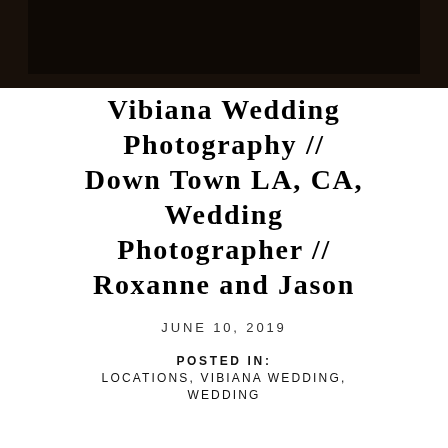[Figure (photo): Dark photographic image strip at the top of the page, showing a dark interior scene in black and dark brown tones.]
Vibiana Wedding Photography // Down Town LA, CA, Wedding Photographer // Roxanne and Jason
JUNE 10, 2019
POSTED IN:
LOCATIONS, VIBIANA WEDDING,
WEDDING